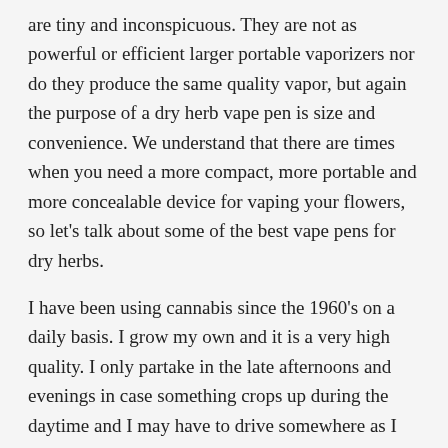are tiny and inconspicuous. They are not as powerful or efficient larger portable vaporizers nor do they produce the same quality vapor, but again the purpose of a dry herb vape pen is size and convenience. We understand that there are times when you need a more compact, more portable and more concealable device for vaping your flowers, so let's talk about some of the best vape pens for dry herbs.
I have been using cannabis since the 1960's on a daily basis. I grow my own and it is a very high quality. I only partake in the late afternoons and evenings in case something crops up during the daytime and I may have to drive somewhere as I live in rural Spain.
If you're new to the scene, you may be asking